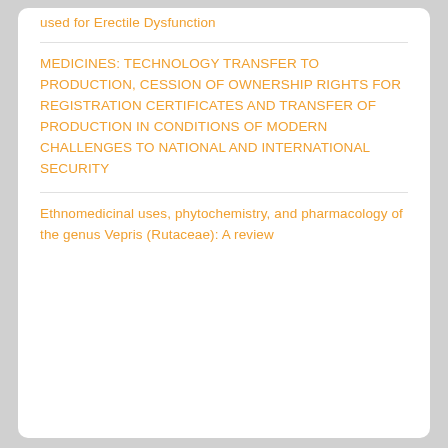used for Erectile Dysfunction
MEDICINES: TECHNOLOGY TRANSFER TO PRODUCTION, CESSION OF OWNERSHIP RIGHTS FOR REGISTRATION CERTIFICATES AND TRANSFER OF PRODUCTION IN CONDITIONS OF MODERN CHALLENGES TO NATIONAL AND INTERNATIONAL SECURITY
Ethnomedicinal uses, phytochemistry, and pharmacology of the genus Vepris (Rutaceae): A review